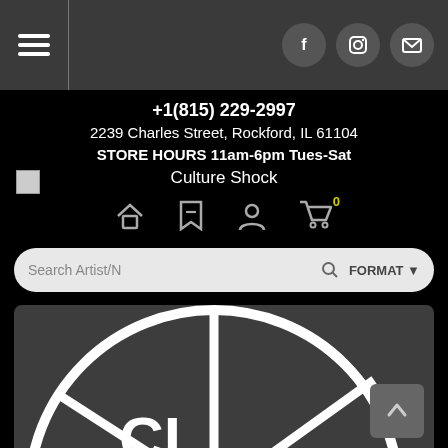Navigation bar with hamburger menu and social icons (Facebook, Instagram, Email)
+1(815) 229-2997
2239 Charles Street, Rockford, IL 61104
STORE HOURS 11am-6pm Tues-Sat
Culture Shock
[Figure (screenshot): Website header showing store info, navigation icons (home, bookmark, account, cart with 0 items), search bar with FORMAT dropdown, and a product image showing a vinyl record store logo (turntable/record graphic in white on dark background)]